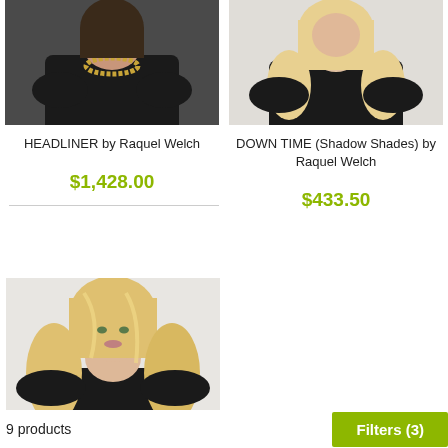[Figure (photo): Cropped photo of a woman wearing a dark top and gold necklace - HEADLINER wig product photo by Raquel Welch]
HEADLINER by Raquel Welch
$1,428.00
[Figure (photo): Cropped photo of a woman with long blonde hair wearing a dark top - DOWN TIME wig product photo by Raquel Welch]
DOWN TIME (Shadow Shades) by Raquel Welch
$433.50
[Figure (photo): Photo of a woman with long wavy blonde hair - third wig product photo]
9 products
Filters (3)